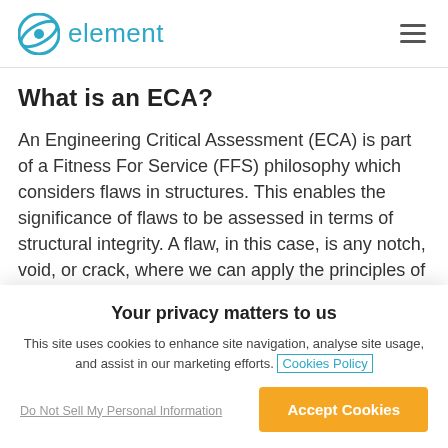element
What is an ECA?
An Engineering Critical Assessment (ECA) is part of a Fitness For Service (FFS) philosophy which considers flaws in structures. This enables the significance of flaws to be assessed in terms of structural integrity. A flaw, in this case, is any notch, void, or crack, where we can apply the principles of fracture mechanics and fatigue
Your privacy matters to us
This site uses cookies to enhance site navigation, analyse site usage, and assist in our marketing efforts. Cookies Policy
Do Not Sell My Personal Information
Accept Cookies